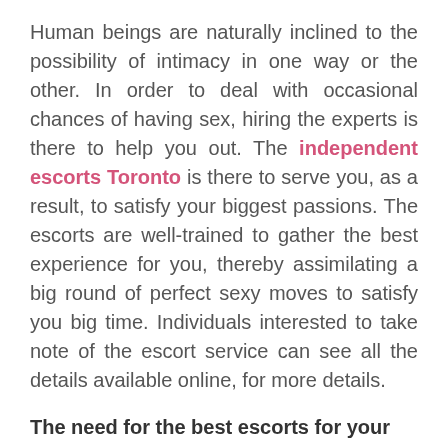Human beings are naturally inclined to the possibility of intimacy in one way or the other. In order to deal with occasional chances of having sex, hiring the experts is there to help you out. The independent escorts Toronto is there to serve you, as a result, to satisfy your biggest passions. The escorts are well-trained to gather the best experience for you, thereby assimilating a big round of perfect sexy moves to satisfy you big time. Individuals interested to take note of the escort service can see all the details available online, for more details.
The need for the best escorts for your needs:
In order to keep in touch with your inner passionate soul, necessary attention from female escorts can further accompany you to make things a little heated up. In this case, having sex with these escorts will in one way or the other